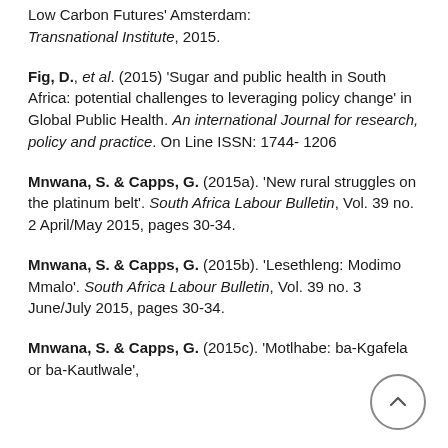Low Carbon Futures' Amsterdam: Transnational Institute, 2015.
Fig, D., et al. (2015) 'Sugar and public health in South Africa: potential challenges to leveraging policy change' in Global Public Health. An international Journal for research, policy and practice. On Line ISSN: 1744- 1206
Mnwana, S. & Capps, G. (2015a). 'New rural struggles on the platinum belt'. South Africa Labour Bulletin, Vol. 39 no. 2 April/May 2015, pages 30-34.
Mnwana, S. & Capps, G. (2015b). 'Lesethleng: Modimo Mmalo'. South Africa Labour Bulletin, Vol. 39 no. 3 June/July 2015, pages 30-34.
Mnwana, S. & Capps, G. (2015c). 'Motlhabe: ba-Kgafela or ba-Kautlwale',